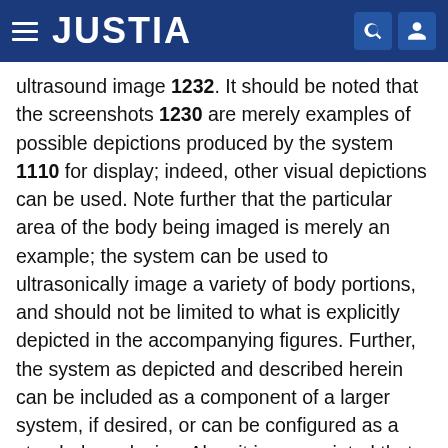JUSTIA
ultrasound image 1232. It should be noted that the screenshots 1230 are merely examples of possible depictions produced by the system 1110 for display; indeed, other visual depictions can be used. Note further that the particular area of the body being imaged is merely an example; the system can be used to ultrasonically image a variety of body portions, and should not be limited to what is explicitly depicted in the accompanying figures. Further, the system as depicted and described herein can be included as a component of a larger system, if desired, or can be configured as a stand-alone device. Also, it is appreciated that, in addition to the visual display 1130, aural information, such as beeps, tones, etc., can also be employed by the system 1110 to assist the clinician during positioning and insertion of the needle into the patient.